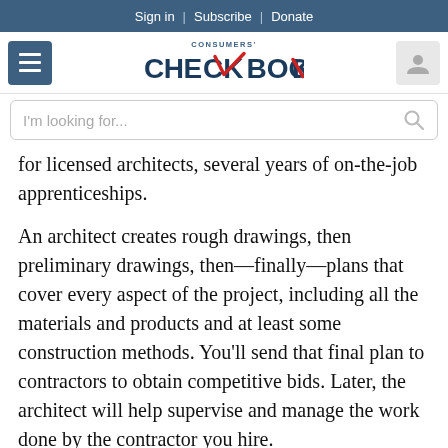Sign in | Subscribe | Donate
[Figure (logo): Consumers' Checkbook logo with navigation hamburger menu and user icon]
[Figure (screenshot): Search bar with placeholder text 'I'm looking for...']
for licensed architects, several years of on-the-job apprenticeships.
An architect creates rough drawings, then preliminary drawings, then—finally—plans that cover every aspect of the project, including all the materials and products and at least some construction methods. You'll send that final plan to contractors to obtain competitive bids. Later, the architect will help supervise and manage the work done by the contractor you hire.